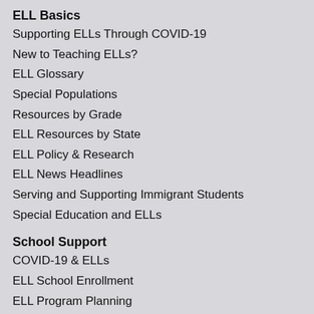ELL Basics
Supporting ELLs Through COVID-19
New to Teaching ELLs?
ELL Glossary
Special Populations
Resources by Grade
ELL Resources by State
ELL Policy & Research
ELL News Headlines
Serving and Supporting Immigrant Students
Special Education and ELLs
School Support
COVID-19 & ELLs
ELL School Enrollment
ELL Program Planning
Assessment
Bilingual & Dual-Language Education: Overview
Special Education and ELLs
School Libraries
College Readiness for ELLs